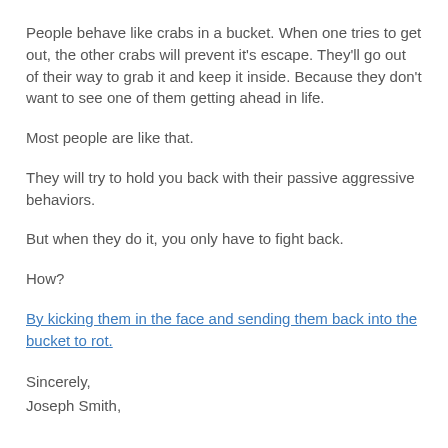People behave like crabs in a bucket. When one tries to get out, the other crabs will prevent it's escape. They'll go out of their way to grab it and keep it inside. Because they don't want to see one of them getting ahead in life.
Most people are like that.
They will try to hold you back with their passive aggressive behaviors.
But when they do it, you only have to fight back.
How?
By kicking them in the face and sending them back into the bucket to rot.
Sincerely,
Joseph Smith,